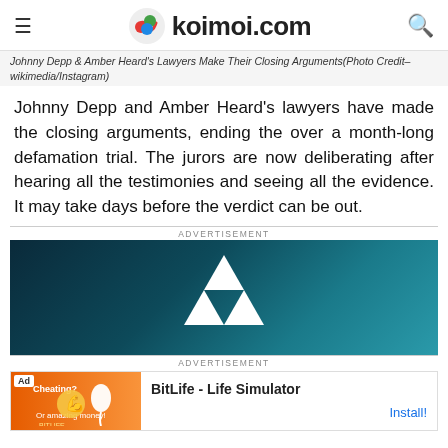koimoi.com
Johnny Depp & Amber Heard's Lawyers Make Their Closing Arguments(Photo Credit– wikimedia/Instagram)
Johnny Depp and Amber Heard's lawyers have made the closing arguments, ending the over a month-long defamation trial. The jurors are now deliberating after hearing all the testimonies and seeing all the evidence. It may take days before the verdict can be out.
[Figure (other): Advertisement banner showing Adidas logo (white trefoil) on a dark teal/blue gradient background]
[Figure (other): Bottom advertisement for BitLife - Life Simulator app with orange background and muscle emoji graphic]